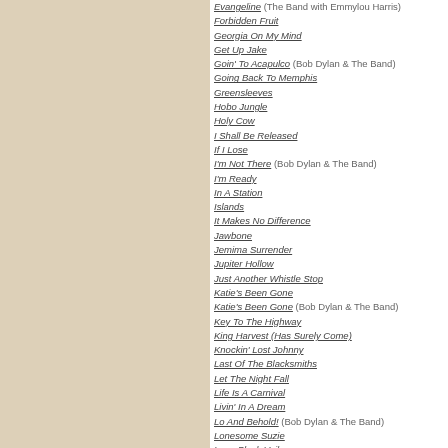Evangeline (The Band with Emmylou Harris)
Forbidden Fruit
Georgia On My Mind
Get Up Jake
Goin' To Acapulco (Bob Dylan & The Band)
Going Back To Memphis
Greensleeves
Hobo Jungle
Holy Cow
I Shall Be Released
If I Lose
I'm Not There (Bob Dylan & The Band)
I'm Ready
In A Station
Islands
It Makes No Difference
Jawbone
Jemima Surrender
Jupiter Hollow
Just Another Whistle Stop
Katie's Been Gone
Katie's Been Gone (Bob Dylan & The Band)
Key To The Highway
King Harvest (Has Surely Come)
Knockin' Lost Johnny
Last Of The Blacksmiths
Let The Night Fall
Life Is A Carnival
Livin' In A Dream
Lo And Behold! (Bob Dylan & The Band)
Lonesome Suzie
Long Black Veil
Long Distance Operator
Long Distance Operator (Bob Dylan & The Band)
Look Out Cleveland
Loving You (Is Sweeter Than Ever)
Million Dollar Bash (Bob Dylan & The Band)
Most Likely You Go Your Way (And I'll Go Mine)